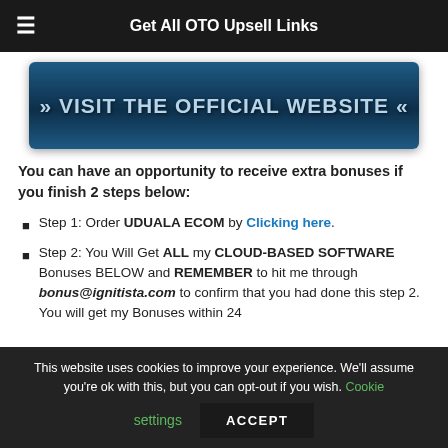Get All OTO Upsell Links
[Figure (illustration): Blue button with text VISIT THE OFFICIAL WEBSITE with arrow chevrons on each side]
You can have an opportunity to receive extra bonuses if you finish 2 steps below:
Step 1: Order UDUALA ECOM by Clicking here.
Step 2: You Will Get ALL my CLOUD-BASED SOFTWARE Bonuses BELOW and REMEMBER to hit me through bonus@ignitista.com to confirm that you had done this step 2. You will get my Bonuses within 24
This website uses cookies to improve your experience. We'll assume you're ok with this, but you can opt-out if you wish. Cookie settings ACCEPT